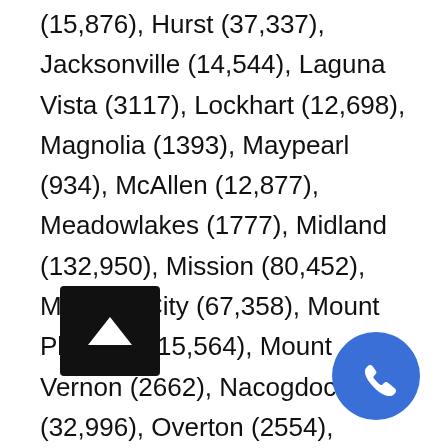(15,876), Hurst (37,337), Jacksonville (14,544), Laguna Vista (3117), Lockhart (12,698), Magnolia (1393), Maypearl (934), McAllen (12,877), Meadowlakes (1777), Midland (132,950), Mission (80,452), Missouri City (67,358), Mount Pleasant (15,564), Mount Vernon (2662), Nacogdoches (32,996), Overton (2554), Palmview (5460), Pampa (17,994), Pecos (8780), Penitas (4403), Pharr (70,400), Richwood (3510), Rowlett (60,236), San Angelo (100,450), San Benito (24,250),